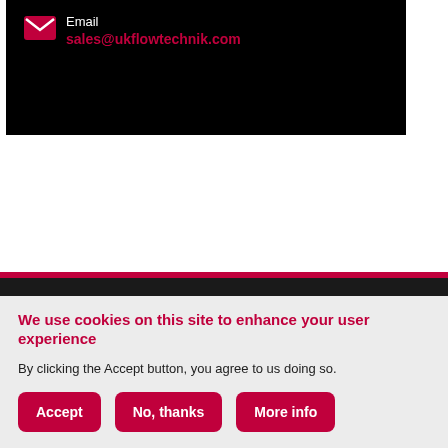Email
sales@ukflowtechnik.com
[Figure (screenshot): Black footer section with Facebook and Twitter social media icons in white]
We use cookies on this site to enhance your user experience
By clicking the Accept button, you agree to us doing so.
Accept | No, thanks | More info